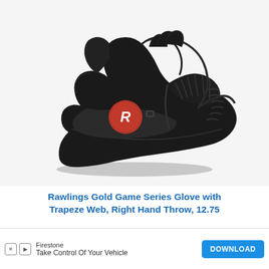[Figure (photo): Black Rawlings Gold Game Series baseball glove with trapeze web and red Rawlings logo badge, displayed on white background]
Rawlings Gold Game Series Glove with Trapeze Web, Right Hand Throw, 12.75
[Figure (other): Red 'Check Price' button partially visible at bottom]
[Figure (other): Firestone advertisement banner: 'Take Control Of Your Vehicle' with DOWNLOAD button]